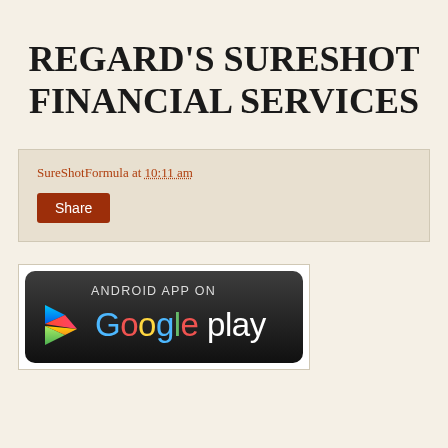REGARD'S SURESHOT FINANCIAL SERVICES
SureShotFormula at 10:11 am
Share
[Figure (logo): Android App on Google Play button with colorful Play Store arrow logo on dark rounded rectangle background]